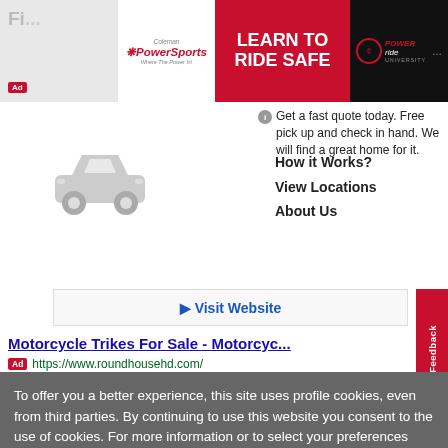[Figure (screenshot): Coleman PowerSports and PowerRide University banner advertisement with 'LEARN TO RIDE SAFE' call to action on red background]
Get a fast quote today. Free pick up and check in hand. We will find a great home for it.
How it Works?
View Locations
About Us
▶ Visit Website
Motorcycle Trikes For Sale - Motorcyc...
Ad https://www.roundhousehd.com/
To offer you a better experience, this site uses profile cookies, even from third parties. By continuing to use this website you consent to the use of cookies. For more information or to select your preferences consult our Privacy Policy
❯ Cookie Settings
✓ OK